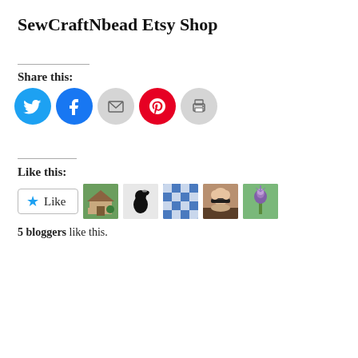SewCraftNbead Etsy Shop
Share this:
[Figure (infographic): Social share buttons: Twitter (blue circle), Facebook (blue circle), Email (gray circle), Pinterest (red circle), Print (gray circle)]
Like this:
[Figure (infographic): WordPress Like button with star icon and 5 blogger avatar thumbnails: garden photo, black bird silhouette, blue/white quilt pattern, woman with sunglasses, thistle flower on green background]
5 bloggers like this.